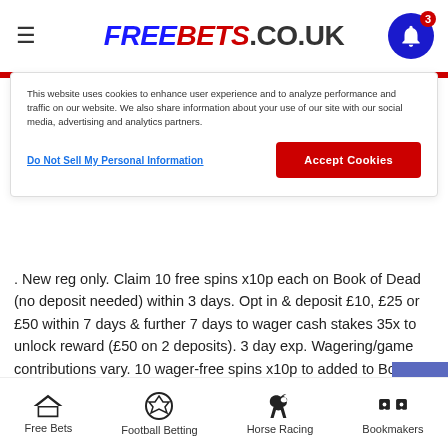FREEBETS.CO.UK
This website uses cookies to enhance user experience and to analyze performance and traffic on our website. We also share information about your use of our site with our social media, advertising and analytics partners.
Do Not Sell My Personal Information
Accept Cookies
. New reg only. Claim 10 free spins x10p each on Book of Dead (no deposit needed) within 3 days. Opt in & deposit £10, £25 or £50 within 7 days & further 7 days to wager cash stakes 35x to unlock reward (£50 on 2 deposits). 3 day exp. Wagering/game contributions vary. 10 wager-free spins x10p to added to Book of Dead with each qualifying deposit, 3 day expiry. 18+BeGambleAware.org
888 Casino
Free Bets | Football Betting | Horse Racing | Bookmakers